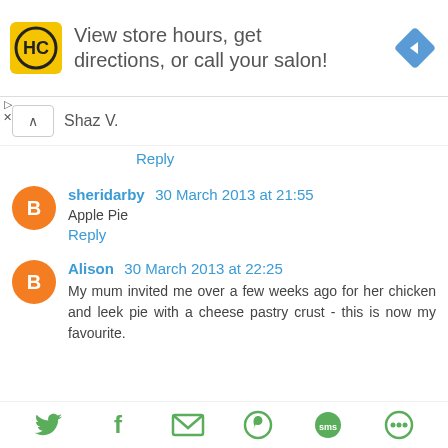[Figure (infographic): Advertisement banner with HC logo (yellow square with HC letters), text 'View store hours, get directions, or call your salon!', and a blue navigation diamond icon on the right. Small play and X controls on left side.]
Shaz V.
Reply
[Figure (infographic): Blogger avatar icon (orange circle with white B letter)]
sheridarby 30 March 2013 at 21:55
Apple Pie
Reply
[Figure (infographic): Blogger avatar icon (orange circle with white B letter)]
Alison 30 March 2013 at 22:25
My mum invited me over a few weeks ago for her chicken and leek pie with a cheese pastry crust - this is now my favourite.
[Figure (infographic): Social share icons row: Twitter bird (green), Facebook f (green), envelope/email (green), WhatsApp (green), SMS bubble (green), another circular icon (green)]